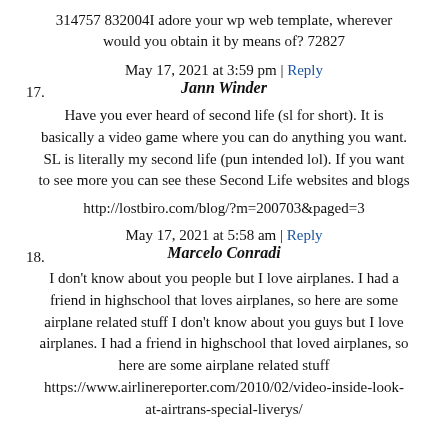314757 832004I adore your wp web template, wherever would you obtain it by means of? 72827
May 17, 2021 at 3:59 pm | Reply
17. Jann Winder
Have you ever heard of second life (sl for short). It is basically a video game where you can do anything you want. SL is literally my second life (pun intended lol). If you want to see more you can see these Second Life websites and blogs
http://lostbiro.com/blog/?m=200703&paged=3
May 17, 2021 at 5:58 am | Reply
18. Marcelo Conradi
I don't know about you people but I love airplanes. I had a friend in highschool that loves airplanes, so here are some airplane related stuff I don't know about you guys but I love airplanes. I had a friend in highschool that loved airplanes, so here are some airplane related stuff https://www.airlinereporter.com/2010/02/video-inside-look-at-airtrans-special-liverys/